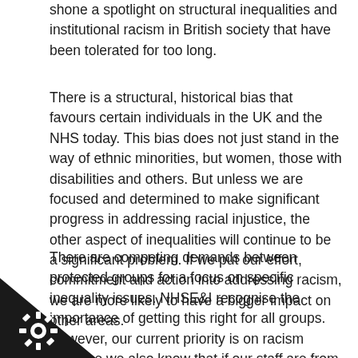shone a spotlight on structural inequalities and institutional racism in British society that have been tolerated for too long.
There is a structural, historical bias that favours certain individuals in the UK and the NHS today. This bias does not just stand in the way of ethnic minorities, but women, those with disabilities and others. But unless we are focused and determined to make significant progress in addressing racial injustice, the other aspect of inequalities will continue to be a significant problem. If we put our effort, commitment and action into addressing racism, we are more likely to have a bigger impact on other areas.
There are competing demands between protected groups for a focus on specific inequality issues. NHSE&I recognise the importance of getting this right for all groups. However, our current priority is on racism because we also know that if our staff are from [E background, they are likely to experience the